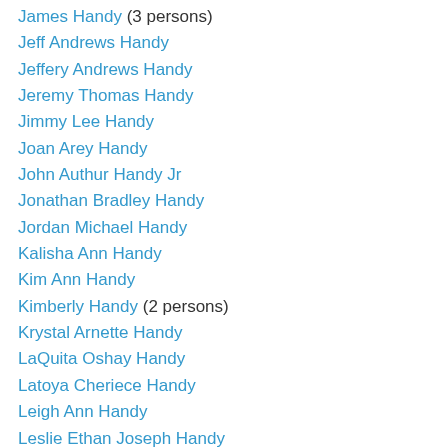James Handy (3 persons)
Jeff Andrews Handy
Jeffery Andrews Handy
Jeremy Thomas Handy
Jimmy Lee Handy
Joan Arey Handy
John Authur Handy Jr
Jonathan Bradley Handy
Jordan Michael Handy
Kalisha Ann Handy
Kim Ann Handy
Kimberly Handy (2 persons)
Krystal Arnette Handy
LaQuita Oshay Handy
Latoya Cheriece Handy
Leigh Ann Handy
Leslie Ethan Joseph Handy
Maci Ruth Handy